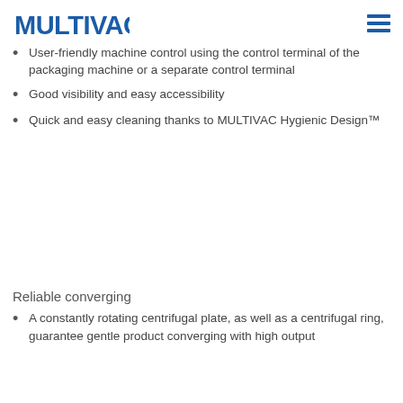MULTIVAC
User-friendly machine control using the control terminal of the packaging machine or a separate control terminal
Good visibility and easy accessibility
Quick and easy cleaning thanks to MULTIVAC Hygienic Design™
Reliable converging
A constantly rotating centrifugal plate, as well as a centrifugal ring, guarantee gentle product converging with high output